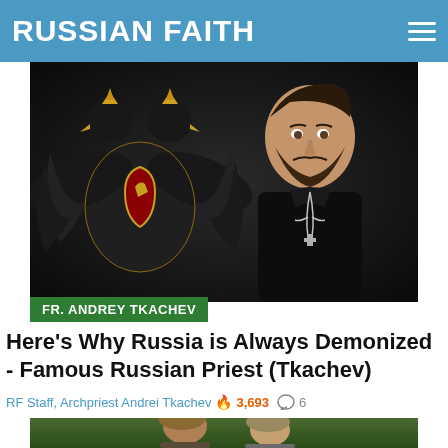RUSSIAN FAITH
[Figure (photo): Russian Orthodox priest in black vestments with pectoral cross, seated in front of a large double-headed eagle imperial emblem with red shield, dark background]
FR. ANDREY TKACHEV
Here's Why Russia is Always Demonized - Famous Russian Priest (Tkachev)
RF Staff, Archpriest Andrei Tkachev  🔥 3,693  💬 6
[Figure (photo): Two men outdoors with green forest background, partial view showing heads and upper bodies]